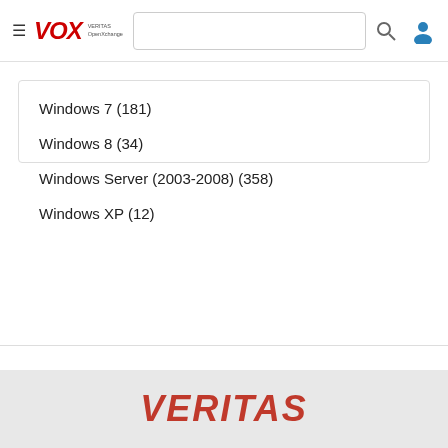≡ VOX | VERITAS OpenXchange | [search bar] [search icon] [user icon]
Windows 7 (181)
Windows 8 (34)
Windows Server (2003-2008) (358)
Windows XP (12)
VERITAS